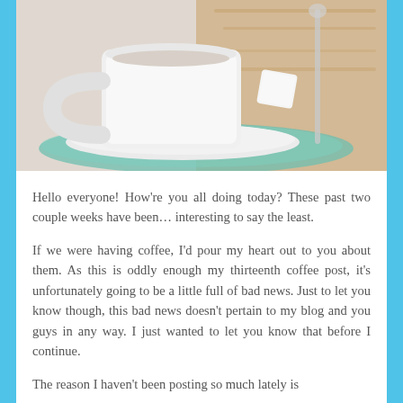[Figure (photo): A white coffee cup and saucer with a sugar cube, placed on a teal/green placemat on a wooden surface, photographed from above at an angle.]
Hello everyone! How're you all doing today? These past two couple weeks have been… interesting to say the least.
If we were having coffee, I'd pour my heart out to you about them. As this is oddly enough my thirteenth coffee post, it's unfortunately going to be a little full of bad news. Just to let you know though, this bad news doesn't pertain to my blog and you guys in any way. I just wanted to let you know that before I continue.
The reason I haven't been posting so much lately is